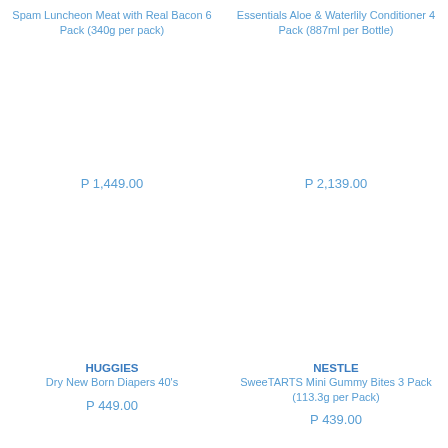Spam Luncheon Meat with Real Bacon 6 Pack (340g per pack)
Essentials Aloe & Waterlily Conditioner 4 Pack (887ml per Bottle)
P 1,449.00
P 2,139.00
HUGGIES
Dry New Born Diapers 40's
NESTLE
SweeTARTS Mini Gummy Bites 3 Pack (113.3g per Pack)
P 449.00
P 439.00
LUCKY ME
Instant Pancit Canton Extra Hot Chili 3 Pack (70g per Pack)